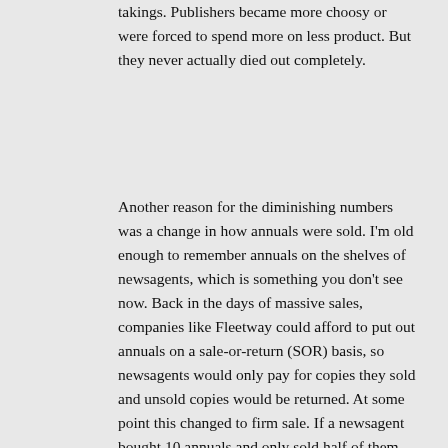takings. Publishers became more choosy or were forced to spend more on less product. But they never actually died out completely.
Another reason for the diminishing numbers was a change in how annuals were sold. I'm old enough to remember annuals on the shelves of newsagents, which is something you don't see now. Back in the days of massive sales, companies like Fleetway could afford to put out annuals on a sale-or-return (SOR) basis, so newsagents would only pay for copies they sold and unsold copies would be returned. At some point this changed to firm sale. If a newsagent bought 10 annuals and only sold half of them, he was stuck with five annuals he had to pay for, wiping out any profits he